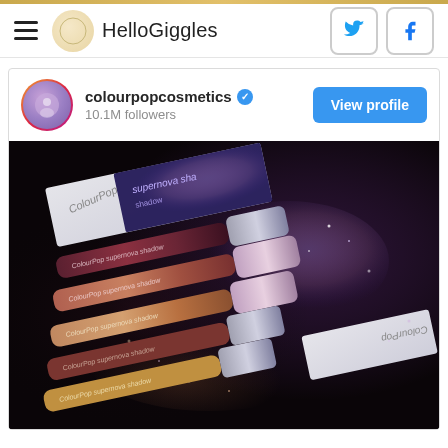HelloGiggles
[Figure (screenshot): Instagram embed card for colourpopcosmetics showing account name, verified badge, 10.1M followers, View profile button, and a dark product photo of ColourPop Supernova Shadow liquid eyeshadow tubes arranged on a dark surface with shimmer dust]
colourpopcosmetics  10.1M followers
View profile